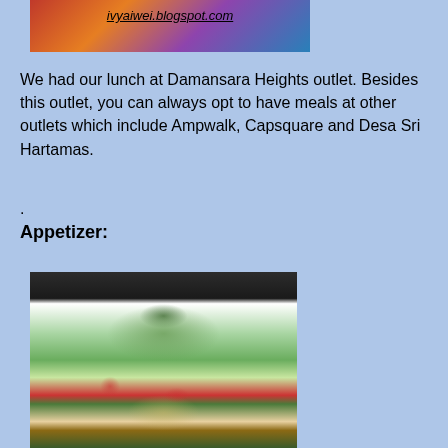[Figure (photo): A banner/header photo with colorful background and the watermark text 'ivyaiwei.blogspot.com' written across it]
We had our lunch at Damansara Heights outlet. Besides this outlet, you can always opt to have meals at other outlets which include Ampwalk, Capsquare and Desa Sri Hartamas.
.
Appetizer:
[Figure (photo): A photo of a salad appetizer served on a white plate, featuring greens, sprouts, tomatoes, cucumber, nuts, and various colorful vegetables, placed on a dark table with chairs visible in the background]